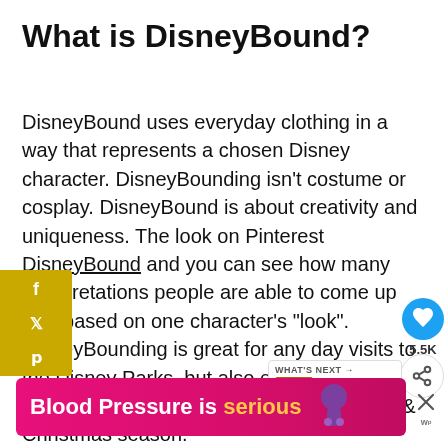What is DisneyBound?
DisneyBound uses everyday clothing in a way that represents a chosen Disney character. DisneyBounding isn't costume or cosplay. DisneyBound is about creativity and uniqueness. The look on Pinterest DisneyBound and you can see how many interpretations people are able to come up with based on one character's "look". DisneyBounding is great for any day visits to the Disney Parks, but also especially during the Dapper Day events, Halloween Time, and Christmas season.
[Figure (other): Blood Pressure is serious advertisement banner in pink/magenta with white bold text and yellow 'serious', with a purple bowling pin-style logo on right]
[Figure (other): Social share sidebar with Facebook, Twitter, Pinterest icons in gold/yellow]
[Figure (other): Heart/like widget showing 5.5K in blue circle, share icon]
[Figure (other): What's Next widget showing Clothes to Wear at... with thumbnail]